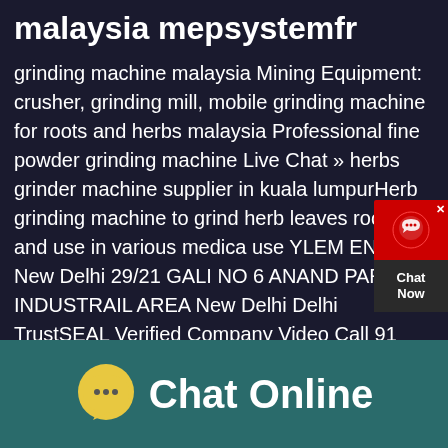malaysia mepsystemfr
grinding machine malaysia Mining Equipment: crusher, grinding mill, mobile grinding machine for roots and herbs malaysia Professional fine powder grinding machine Live Chat » herbs grinder machine supplier in kuala lumpurHerb grinding machine to grind herb leaves roots etc and use in various medical use YLEM ENERGY New Delhi 29/21 GALI NO 6 ANAND PARBAT INDUSTRAIL AREA New Delhi Delhi TrustSEAL Verified Company Video Call 91 Contact Supplier Request a quote Get Price; second hand grinding machine in malaysiagrinding herbs machine in malaysia csbsvmcz
[Figure (infographic): Chat Now widget — red top with headset icon and X close button, dark bottom with 'Chat Now' text]
[Figure (infographic): Footer bar with teal/dark green background showing a yellow speech bubble icon with ellipsis and 'Chat Online' text in white]